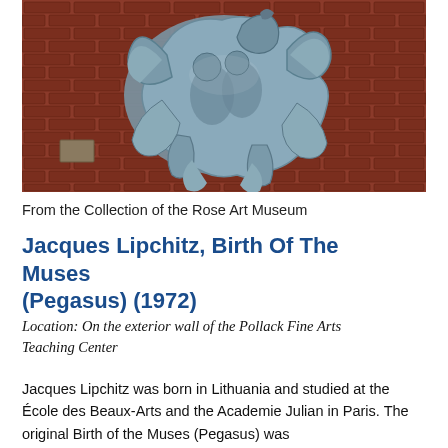[Figure (photo): A blue-grey sculptural relief mounted on a red brick wall, depicting an abstract figure group including a winged horse (Pegasus) and mythological figures, by Jacques Lipchitz.]
From the Collection of the Rose Art Museum
Jacques Lipchitz, Birth Of The Muses (Pegasus) (1972)
Location: On the exterior wall of the Pollack Fine Arts Teaching Center
Jacques Lipchitz was born in Lithuania and studied at the École des Beaux-Arts and the Academie Julian in Paris. The original Birth of the Muses (Pegasus) was commissioned for Nelson Rockefeller, then the...